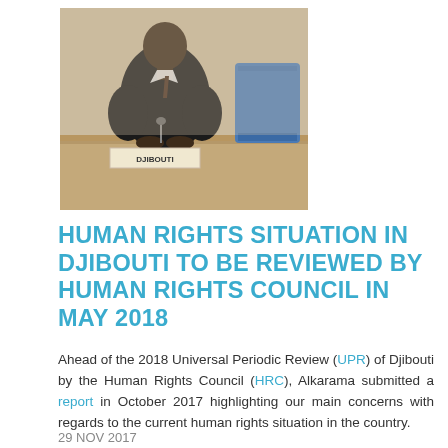[Figure (photo): A person in a dark suit seated at a conference table with a 'DJIBOUTI' nameplate in front, at what appears to be a UN-style council chamber. A blue chair is visible in the background.]
HUMAN RIGHTS SITUATION IN DJIBOUTI TO BE REVIEWED BY HUMAN RIGHTS COUNCIL IN MAY 2018
Ahead of the 2018 Universal Periodic Review (UPR) of Djibouti by the Human Rights Council (HRC), Alkarama submitted a report in October 2017 highlighting our main concerns with regards to the current human rights situation in the country.
29 NOV 2017